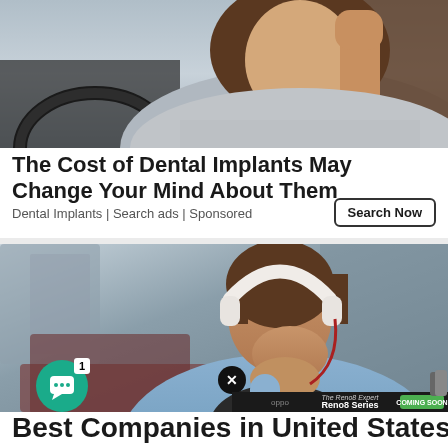[Figure (photo): Top portion of advertisement image showing a woman driving a car, grasping the steering wheel, long brown hair visible, wearing a grey sweater.]
The Cost of Dental Implants May Change Your Mind About Them
Dental Implants | Search ads | Sponsored
Search Now
[Figure (photo): Photo of a young man sitting outdoors at a table with a laptop, wearing white over-ear headphones and a light blue denim shirt over a black shirt, resting his chin on his fist thoughtfully. Urban background is blurred. Overlaid are a green chat notification button with badge '1', an OPPO Reno8 Series Coming Soon banner at the bottom, and a close button.]
Best Companies in United States for Dol...